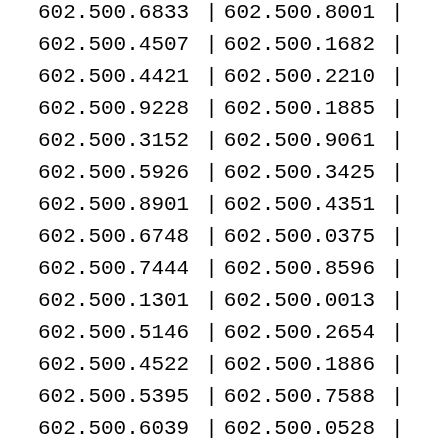| col1 | col2 |
| --- | --- |
| 602.500.6833 | 602.500.8001 |
| 602.500.4507 | 602.500.1682 |
| 602.500.4421 | 602.500.2210 |
| 602.500.9228 | 602.500.1885 |
| 602.500.3152 | 602.500.9061 |
| 602.500.5926 | 602.500.3425 |
| 602.500.8901 | 602.500.4351 |
| 602.500.6748 | 602.500.0375 |
| 602.500.7444 | 602.500.8596 |
| 602.500.1301 | 602.500.0013 |
| 602.500.5146 | 602.500.2654 |
| 602.500.4522 | 602.500.1886 |
| 602.500.5395 | 602.500.7588 |
| 602.500.6039 | 602.500.0528 |
| 602.500.8561 | 602.500.7099 |
| 602.500.1347 | 602.500.3103 |
| 602.500.3484 | 602.500.3538 |
| 602.500.6162 | 602.500.1465 |
| 602.500.1874 | 602.500.8674 |